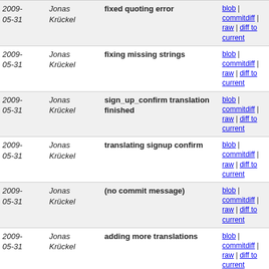| Date | Author | Message | Links |
| --- | --- | --- | --- |
| 2009-05-31 | Jonas Krückel | fixed quoting error | blob | commitdiff | raw | diff to current |
| 2009-05-31 | Jonas Krückel | fixing missing strings | blob | commitdiff | raw | diff to current |
| 2009-05-31 | Jonas Krückel | sign_up_confirm translation finished | blob | commitdiff | raw | diff to current |
| 2009-05-31 | Jonas Krückel | translating signup confirm | blob | commitdiff | raw | diff to current |
| 2009-05-31 | Jonas Krückel | (no commit message) | blob | commitdiff | raw | diff to current |
| 2009-05-31 | Jonas Krückel | adding more translations | blob | commitdiff | raw | diff to current |
| 2009-05-31 | Jonas Krückel | Added some translations for inbox and more | blob | commitdiff | raw | diff to current |
| 2009-05-31 | Jonas Krückel | fixed misspelled key | blob | commitdiff | raw | diff to current |
| 2009-05-31 | Jonas Krückel | now feature-complete to en.yml | blob | commitdiff | raw | diff to current |
| 2009-05-31 | Tom Hughes | More missing files from I18N merge. | blob | commitdiff | raw | diff to current |
| 2009-05-31 | Jonas | adding strings from en.yml | blob | commitdiff |